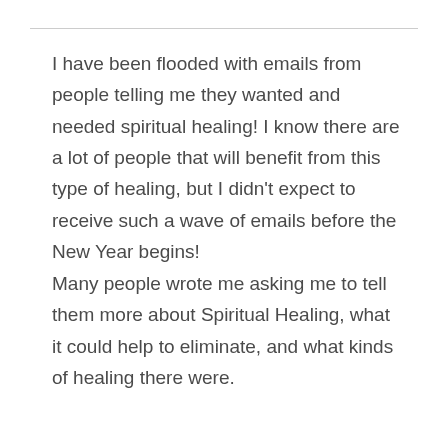I have been flooded with emails from people telling me they wanted and needed spiritual healing! I know there are a lot of people that will benefit from this type of healing, but I didn't expect to receive such a wave of emails before the New Year begins!
Many people wrote me asking me to tell them more about Spiritual Healing, what it could help to eliminate, and what kinds of healing there were.